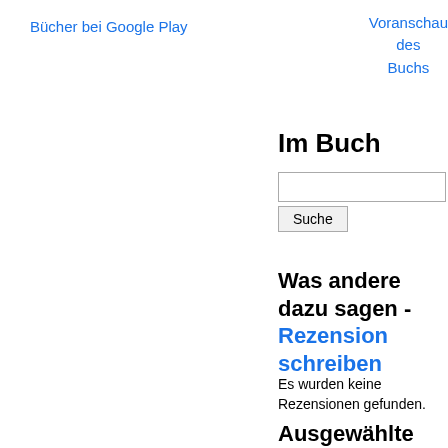Bücher bei Google Play
Voranschau des Buchs
Im Buch
[search input field] Suche
Was andere dazu sagen - Rezension schreiben
Es wurden keine Rezensionen gefunden.
Ausgewählte Seite